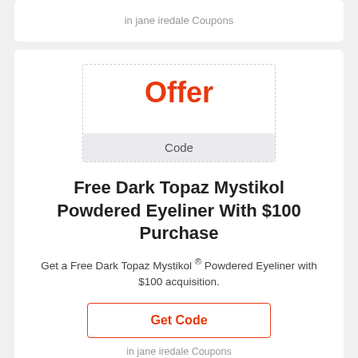in jane iredale Coupons
[Figure (other): Coupon box with 'Offer' in red text and a 'Code' bar at the bottom]
Free Dark Topaz Mystikol Powdered Eyeliner With $100 Purchase
Get a Free Dark Topaz Mystikol ® Powdered Eyeliner with $100 acquisition.
Get Code
in jane iredale Coupons